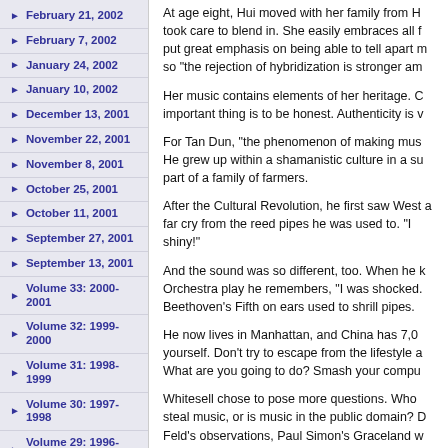February 21, 2002
February 7, 2002
January 24, 2002
January 10, 2002
December 13, 2001
November 22, 2001
November 8, 2001
October 25, 2001
October 11, 2001
September 27, 2001
September 13, 2001
Volume 33: 2000-2001
Volume 32: 1999-2000
Volume 31: 1998-1999
Volume 30: 1997-1998
Volume 29: 1996-1997
Volume 28: 1995-1996
Contact us
Policies
Ad rates and graduation
At age eight, Hui moved with her family from H... took care to blend in. She easily embraces all f... put great emphasis on being able to tell apart m... so "the rejection of hybridization is stronger am...
Her music contains elements of her heritage. C... important thing is to be honest. Authenticity is v...
For Tan Dun, "the phenomenon of making mus... He grew up within a shamanistic culture in a su... part of a family of farmers.
After the Cultural Revolution, he first saw West... a far cry from the reed pipes he was used to. "I... shiny!"
And the sound was so different, too. When he k... Orchestra play he remembers, "I was shocked... Beethoven's Fifth on ears used to shrill pipes.
He now lives in Manhattan, and China has 7,0... yourself. Don't try to escape from the lifestyle a... What are you going to do? Smash your compu...
Whitesell chose to pose more questions. Who ... steal music, or is music in the public domain? D... Feld's observations, Paul Simon's Graceland w... and South African pop, but Simon is the one w...
Whitesell believes Boulez's comments reflecte... for political considerations, and raised the thor... authenticity with cultural tensions. Do with...